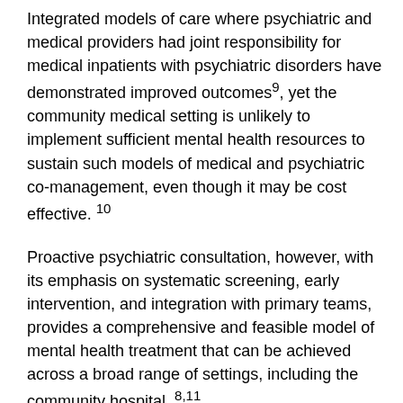Integrated models of care where psychiatric and medical providers had joint responsibility for medical inpatients with psychiatric disorders have demonstrated improved outcomes9, yet the community medical setting is unlikely to implement sufficient mental health resources to sustain such models of medical and psychiatric co-management, even though it may be cost effective. 10
Proactive psychiatric consultation, however, with its emphasis on systematic screening, early intervention, and integration with primary teams, provides a comprehensive and feasible model of mental health treatment that can be achieved across a broad range of settings, including the community hospital. 8,11